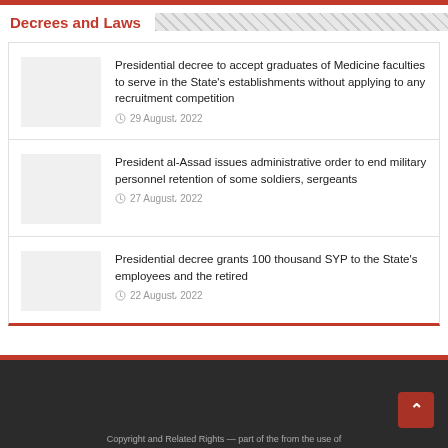Decrees and Laws
Presidential decree to accept graduates of Medicine faculties to serve in the State's establishments without applying to any recruitment competition
29 August، 2022
President al-Assad issues administrative order to end military personnel retention of some soldiers, sergeants
27 August، 2022
Presidential decree grants 100 thousand SYP to the State's employees and the retired
22 August، 2022
Copyright and Related Rights — part of the from the use of